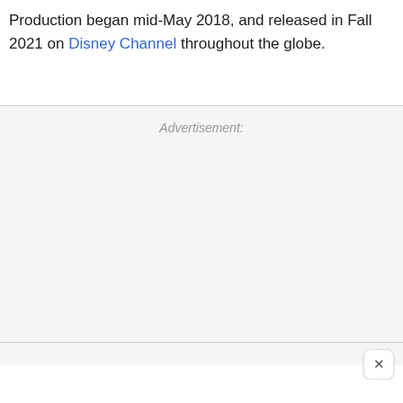Production began mid-May 2018, and released in Fall 2021 on Disney Channel throughout the globe.
Advertisement: